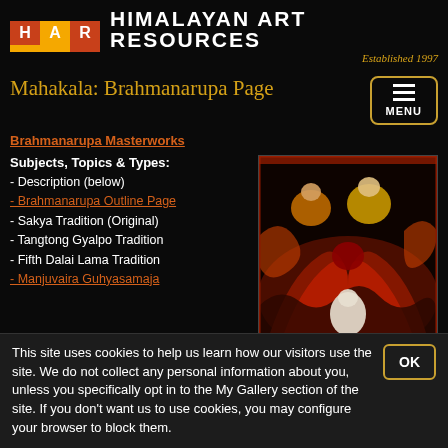HAR Himalayan Art Resources | Established 1997
Mahakala: Brahmanarupa Page
Brahmanarupa Masterworks
Subjects, Topics & Types:
- Description (below)
- Brahmanarupa Outline Page
- Sakya Tradition (Original)
- Tangtong Gyalpo Tradition
- Fifth Dalai Lama Tradition
- Manjuvaira Guhyasamaja
[Figure (photo): Himalayan religious artwork depicting Mahakala Brahmanarupa, with figures seated above a swirling red and dark composition, traditional Tibetan thangka painting style]
This site uses cookies to help us learn how our visitors use the site. We do not collect any personal information about you, unless you specifically opt in to the My Gallery section of the site. If you don't want us to use cookies, you may configure your browser to block them.